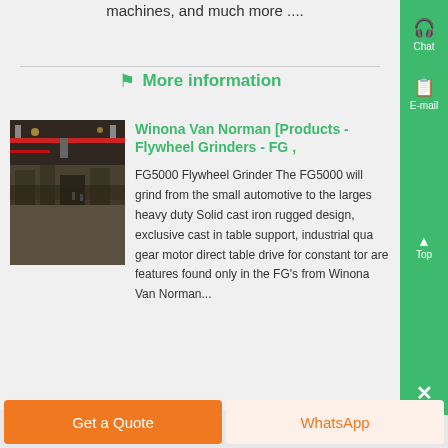machines, and much more ....
More information
[Figure (photo): Industrial factory floor with overhead cranes and machinery]
Winona Van Norman [Products - Flywheel Grinders - FG ,
FG5000 Flywheel Grinder The FG5000 will grind from the small automotive to the largest heavy duty Solid cast iron rugged design, exclusive cast in table support, industrial quality gear motor direct table drive for constant torque are features found only in the FG's from Winona Van Norman...